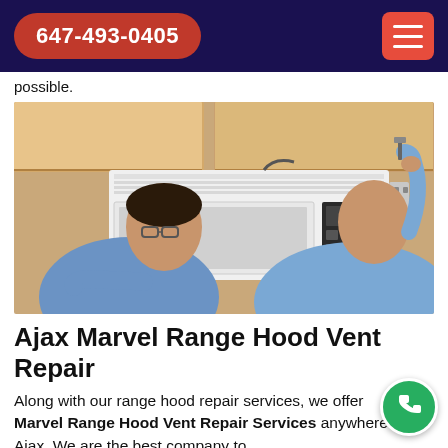647-493-0405
possible.
[Figure (photo): Two technicians installing or repairing a microwave oven mounted under kitchen cabinets. One man in a blue denim shirt holds the appliance while the other reaches up with a tool.]
Ajax Marvel Range Hood Vent Repair
Along with our range hood repair services, we offer Marvel Range Hood Vent Repair Services anywhere in Ajax. We are the best company to